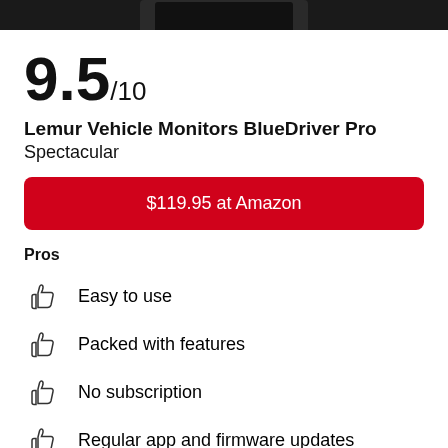[Figure (photo): Top portion of a black OBD2 Bluetooth device on white background, cropped at top]
9.5/10
Lemur Vehicle Monitors BlueDriver Pro
Spectacular
$119.95 at Amazon
Pros
Easy to use
Packed with features
No subscription
Regular app and firmware updates
Cons